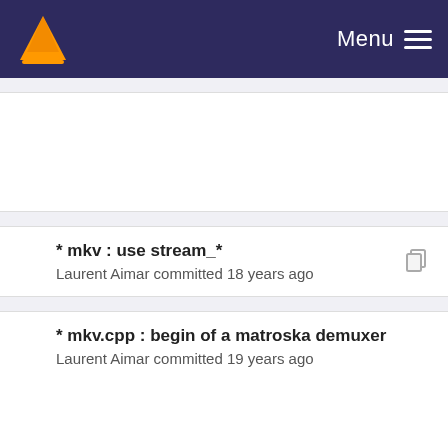VLC Menu
* mkv : use stream_*
Laurent Aimar committed 18 years ago
* mkv.cpp : begin of a matroska demuxer
Laurent Aimar committed 19 years ago
* mkv : use stream_*
Laurent Aimar committed 18 years ago
* mkv.cpp : begin of a matroska demuxer
Laurent Aimar committed 19 years ago